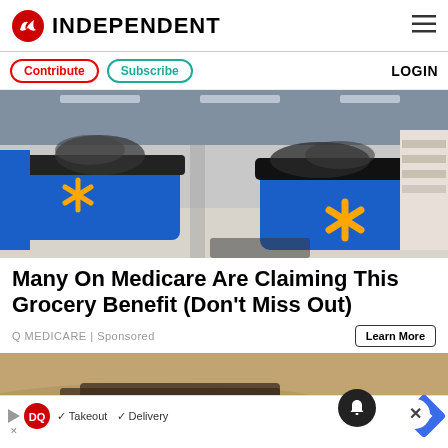INDEPENDENT
Contribute  Subscribe  LOGIN
[Figure (photo): Walmart store interior showing self-checkout lanes with blue counters and Walmart spark logos]
Many On Medicare Are Claiming This Grocery Benefit (Don't Miss Out)
Q MEDICARE | Sponsored
Learn More
[Figure (photo): Partial photo of sandy/rocky outdoor scene with a strap visible]
DQ Takeout ✓ Delivery